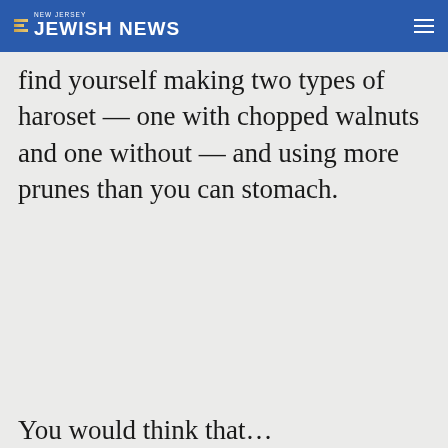NEW JERSEY JEWISH NEWS
find yourself making two types of haroset — one with chopped walnuts and one without — and using more prunes than you can stomach.
You would think that...